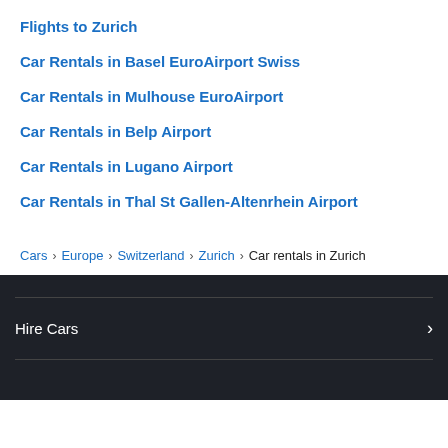Flights to Zurich
Car Rentals in Basel EuroAirport Swiss
Car Rentals in Mulhouse EuroAirport
Car Rentals in Belp Airport
Car Rentals in Lugano Airport
Car Rentals in Thal St Gallen-Altenrhein Airport
Cars › Europe › Switzerland › Zurich › Car rentals in Zurich
Hire Cars ›